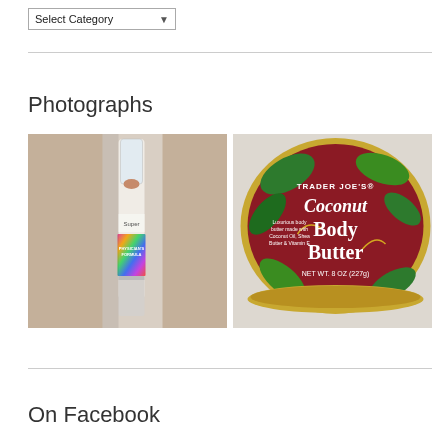Select Category
Photographs
[Figure (photo): Two product photos side by side: left shows a Physician's Formula Super BB concealer/makeup stick with holographic label; right shows a Trader Joe's Coconut Body Butter tin with gold lid, dark red label with tropical leaves, NET WT. 8 OZ (227g)]
On Facebook